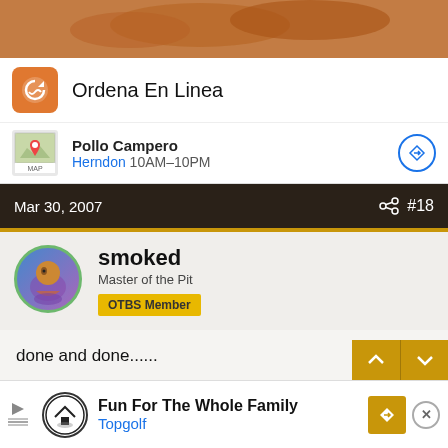[Figure (photo): Food photo showing fried chicken pieces on a plate]
[Figure (screenshot): Ordena En Linea ad banner with Pollo Campero logo and Herndon 10AM-10PM location info]
Mar 30, 2007  #18
smoked
Master of the Pit
OTBS Member
done and done......
Mar 30, 2007  #19
tente117
[Figure (screenshot): Bottom advertisement: Fun For The Whole Family - Topgolf]